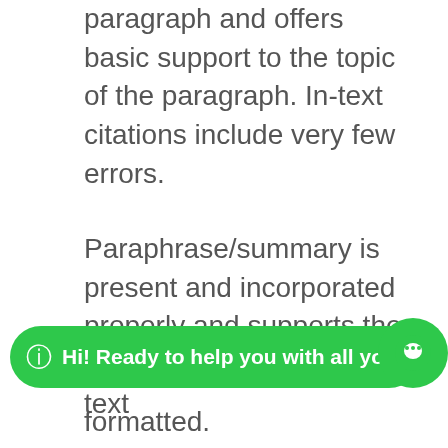paragraph and offers basic support to the topic of the paragraph. In-text citations include very few errors.
Paraphrase/summary is present and incorporated properly and supports the topic of the paragraph. In-text citations include
formatted.